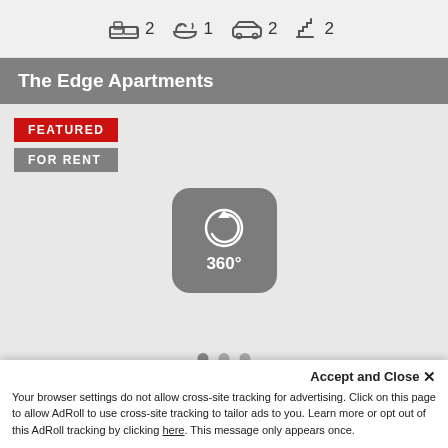[Figure (infographic): Property icons showing: bed icon with 2, bath icon with 1, car/garage icon with 2, stairs/floor icon with 2]
The Edge Apartments
FEATURED
FOR RENT
[Figure (photo): Property listing image area with a 360 degree virtual tour button overlay and three navigation dots at the bottom]
Rent price fro
Use our FREE appraisal service if you w
Accept and Close ×
Your browser settings do not allow cross-site tracking for advertising. Click on this page to allow AdRoll to use cross-site tracking to tailor ads to you. Learn more or opt out of this AdRoll tracking by clicking here. This message only appears once.